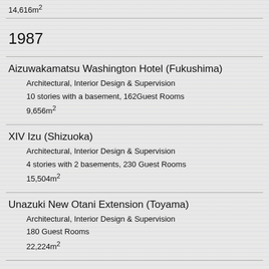14,616m²
1987
Aizuwakamatsu Washington Hotel (Fukushima)
Architectural, Interior Design & Supervision
10 stories with a basement, 162Guest Rooms
9,656m²
XIV Izu (Shizuoka)
Architectural, Interior Design & Supervision
4 stories with 2 basements, 230 Guest Rooms
15,504m²
Unazuki New Otani Extension (Toyama)
Architectural, Interior Design & Supervision
180 Guest Rooms
22,224m²